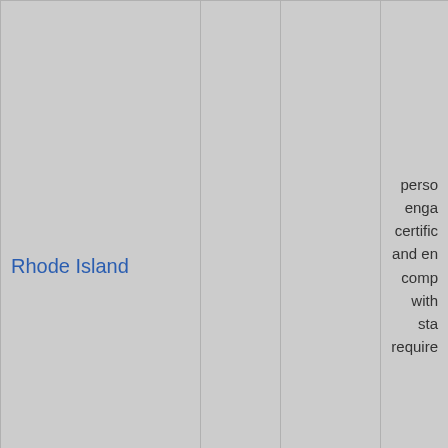| State | Required | Frequency | Fee/Notes |
| --- | --- | --- | --- |
| Rhode Island |  |  | persons engaged certified and employers comply with state requirements |
| South Carolina | Yes | Biennial | $4... |
| South Dakota | Yes | Annually | No pro... |
| Tennessee | Yes | Annually |  |